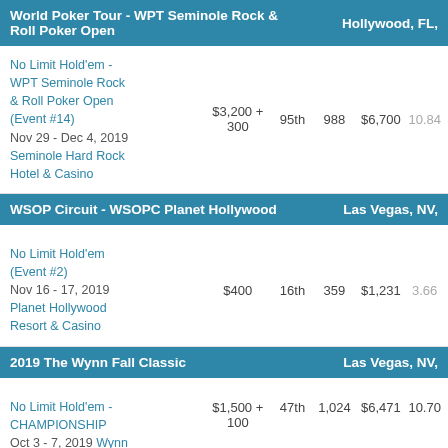World Poker Tour - WPT Seminole Rock & Roll Poker Open | Hollywood, FL,
| Event | Buy-in | Place | Entries | Prize | Pts |
| --- | --- | --- | --- | --- | --- |
| No Limit Hold'em - WPT Seminole Rock & Roll Poker Open (Event #14)
Nov 29 - Dec 4, 2019
Seminole Hard Rock Hotel & Casino | $3,200 + 300 | 95th | 988 | $6,700 | 10.84 |
WSOP Circuit - WSOPC Planet Hollywood | Las Vegas, NV,
| Event | Buy-in | Place | Entries | Prize | Pts |
| --- | --- | --- | --- | --- | --- |
| No Limit Hold'em (Event #2)
Nov 16 - 17, 2019
Planet Hollywood Resort & Casino | $400 | 16th | 359 | $1,231 | 3.66 |
2019 The Wynn Fall Classic | Las Vegas, NV,
| Event | Buy-in | Place | Entries | Prize | Pts |
| --- | --- | --- | --- | --- | --- |
| No Limit Hold'em - CHAMPIONSHIP
Oct 3 - 7, 2019 Wynn Las Vegas | $1,500 + 100 | 47th | 1,024 | $6,471 | 10.70 |